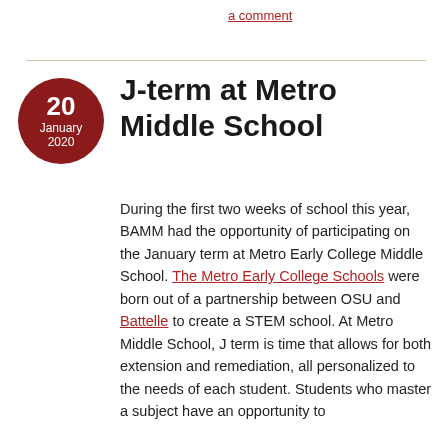a comment
J-term at Metro Middle School
During the first two weeks of school this year, BAMM had the opportunity of participating on the January term at Metro Early College Middle School. The Metro Early College Schools were born out of a partnership between OSU and Battelle to create a STEM school. At Metro Middle School, J term is time that allows for both extension and remediation, all personalized to the needs of each student. Students who master a subject have an opportunity to